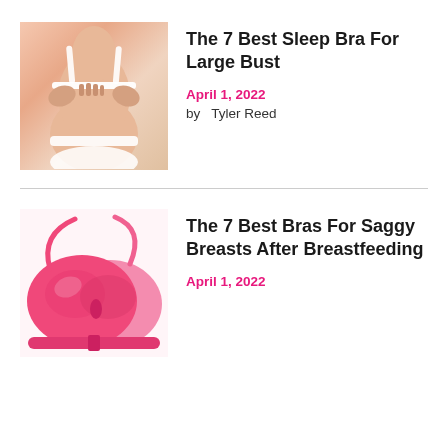[Figure (photo): Photo of a person from behind wearing white underwear, unhooking a bra strap]
The 7 Best Sleep Bra For Large Bust
April 1, 2022
by  Tyler Reed
[Figure (photo): Photo of two pink push-up bras on a white background]
The 7 Best Bras For Saggy Breasts After Breastfeeding
April 1, 2022